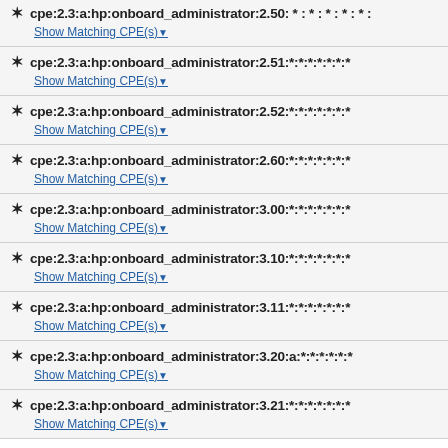cpe:2.3:a:hp:onboard_administrator:2.50:*:*:*:*:*:*:*
Show Matching CPE(s)
cpe:2.3:a:hp:onboard_administrator:2.51:*:*:*:*:*:*:*
Show Matching CPE(s)
cpe:2.3:a:hp:onboard_administrator:2.52:*:*:*:*:*:*:*
Show Matching CPE(s)
cpe:2.3:a:hp:onboard_administrator:2.60:*:*:*:*:*:*:*
Show Matching CPE(s)
cpe:2.3:a:hp:onboard_administrator:3.00:*:*:*:*:*:*:*
Show Matching CPE(s)
cpe:2.3:a:hp:onboard_administrator:3.10:*:*:*:*:*:*:*
Show Matching CPE(s)
cpe:2.3:a:hp:onboard_administrator:3.11:*:*:*:*:*:*:*
Show Matching CPE(s)
cpe:2.3:a:hp:onboard_administrator:3.20:a:*:*:*:*:*:*
Show Matching CPE(s)
cpe:2.3:a:hp:onboard_administrator:3.21:*:*:*:*:*:*:*
Show Matching CPE(s)